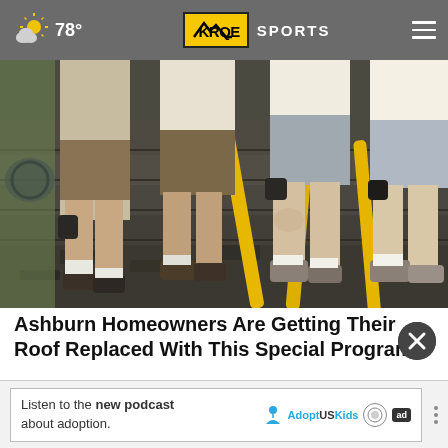78° KRQE SPORTS
[Figure (photo): Workers removing old roofing shingles with tools on a rooftop, showing legs and work boots from waist down]
Ashburn Homeowners Are Getting Their Roof Replaced With This Special Program
Smart Consumer Update
[Figure (other): Close button (X) circle overlay]
Listen to the new podcast about adoption.